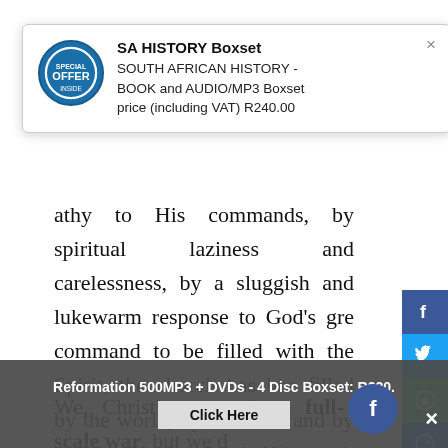[Figure (screenshot): Popup advertisement for SA HISTORY Boxset - South African History Book and Audio/MP3 Boxset, price including VAT R240.00, with an OFFER badge icon and close button]
...athy to His commands, by spiritual laziness and carelessness, by a sluggish and lukewarm response to God's great command to be filled with the Spirit, the church has been filled by the world, by the flesh and by the devil with sinful, half-hearted, lukewarm, semi-saved, half-saved, pseudo-saved and even unsaved poor imitations of the real thing.
We, Christians, are in a full-scale war, but we do...
[Figure (screenshot): Social media sharing sidebar with Facebook, Twitter, WhatsApp, Messenger, Google+, Pinterest, and more buttons]
[Figure (screenshot): Bottom banner advertisement: Reformation 500MP3 + DVDs - 4 Disc Boxset: R220. Click Here button with Facebook icon and close button]